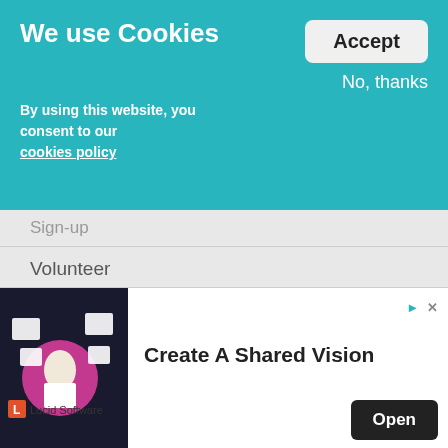We use Cookies
By using this website, you consent to our cookies policy
Accept
No, thanks
Sign-up
Volunteer
Donate
Diaspora Hub
Exhibitions
Facebook
Twitter
Linkedin
[Figure (screenshot): Advertisement banner for Lucid Software showing a person with floating documents, text 'Create A Shared Vision', and an Open button]
Lucid Software